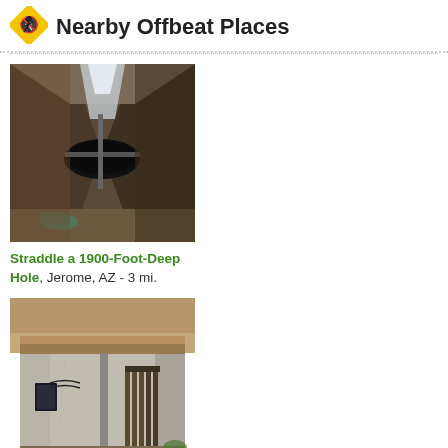Nearby Offbeat Places
[Figure (photo): Interior view of a deep mine shaft or tunnel, looking down into a very deep hole with metal structures visible]
Straddle a 1900-Foot-Deep Hole, Jerome, AZ - 3 mi.
[Figure (photo): Exterior view of the Sliding Jail in Jerome, AZ - a concrete building with exposed pipes and weathered walls]
Sliding Jail, Jerome, AZ - 4 mi.